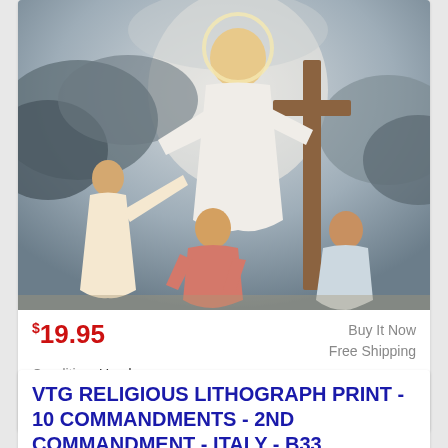[Figure (illustration): Religious lithograph illustration showing Jesus Christ in white robes holding a cross with a halo, surrounded by three children kneeling and reaching toward him, with clouds in the background]
$19.95
Buy It Now
Free Shipping
Condition: Used
Location: Portland, United States
I Am The Lord Thy God. Printed in Italy. FB Anchor.
VTG RELIGIOUS LITHOGRAPH PRINT - 10 COMMANDMENTS - 2ND COMMANDMENT - ITALY - B33